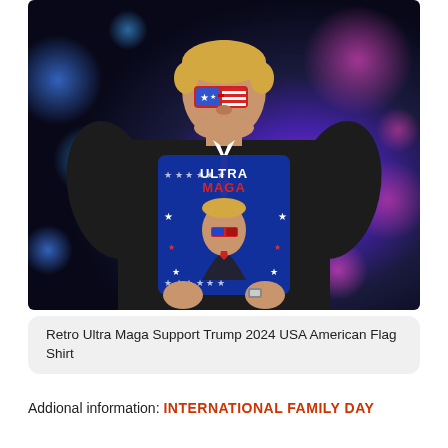[Figure (photo): A person wearing a black t-shirt featuring an 'Ultra Maga' graphic print with a caricature of Donald Trump wearing American flag sunglasses, surrounded by stars on a blue background, photographed against a blurred colorful bokeh background.]
Retro Ultra Maga Support Trump 2024 USA American Flag Shirt
Addional information: INTERNATIONAL FAMILY DAY